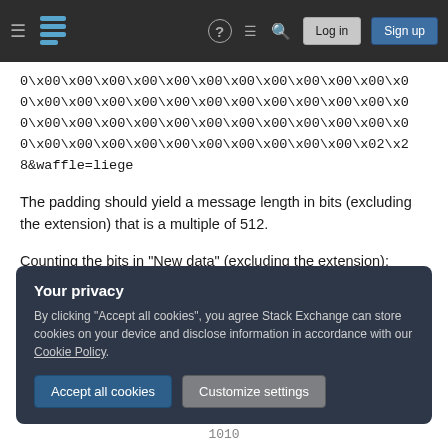Stack Exchange navigation bar with hamburger, logo, help, chat, search, Log in, Sign up
0\x00\x00\x00\x00\x00\x00\x00\x00\x00\x00\x00\x00\x0 0\x00\x00\x00\x00\x00\x00\x00\x00\x00\x00\x00\x0 0\x00\x00\x00\x00\x00\x00\x00\x00\x00\x00\x00\x0 0\x00\x00\x00\x00\x00\x00\x00\x00\x00\x02\x2 8&waffle=liege
The padding should yield a message length in bits (excluding the extension) that is a multiple of 512.
Counting the bits in "New data" (excluding the extension):
Your privacy
By clicking "Accept all cookies", you agree Stack Exchange can store cookies on your device and disclose information in accordance with our Cookie Policy.
1010